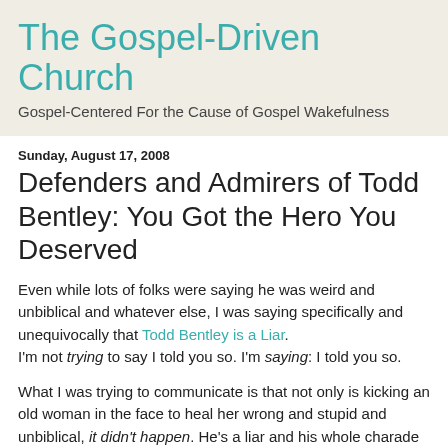The Gospel-Driven Church
Gospel-Centered For the Cause of Gospel Wakefulness
Sunday, August 17, 2008
Defenders and Admirers of Todd Bentley: You Got the Hero You Deserved
Even while lots of folks were saying he was weird and unbiblical and whatever else, I was saying specifically and unequivocally that Todd Bentley is a Liar.
I'm not trying to say I told you so. I'm saying: I told you so.
What I was trying to communicate is that not only is kicking an old woman in the face to heal her wrong and stupid and unbiblical, it didn't happen. He's a liar and his whole charade was lies upon lies upon more lies.